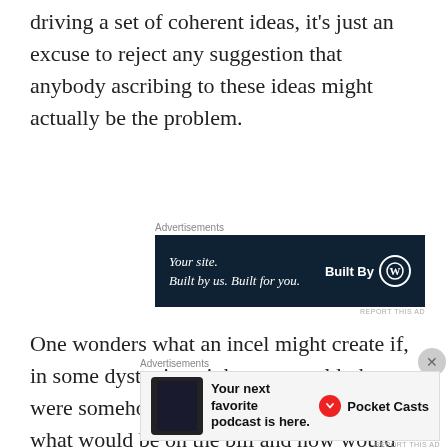driving a set of coherent ideas, it’s just an excuse to reject any suggestion that anybody ascribing to these ideas might actually be the problem.
[Figure (other): Advertisement banner: WordPress Built By ad with dark navy background. Text reads 'Your site. Built by us. Built for you.' with 'Built By' and WordPress logo.]
One wonders what an incel might create if, in some dystopian nightmare world, they were somehow able to pass a sex law – what would be on the bill and how would they quantify their own displaced failings
[Figure (other): Advertisement banner: Pocket Casts ad. Text reads 'Your next favorite podcast is here.' with Pocket Casts logo.]